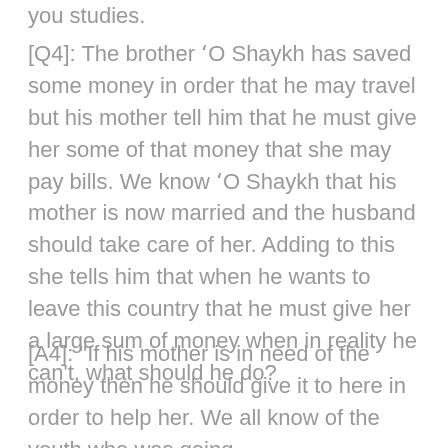you studies.
[Q4]: The brother ‘O Shaykh has saved some money in order that he may travel but his mother tell him that he must give her some of that money that she may pay bills. We know ‘O Shaykh that his mother is now married and the husband should take care of her. Adding to this she tells him that when he wants to leave this country that he must give her a large sum of money when in reality he can’t, what should he do?
[A4]: “If his mother is in need of the money then he should give it to here in order to help her. We all know of the youth who was going